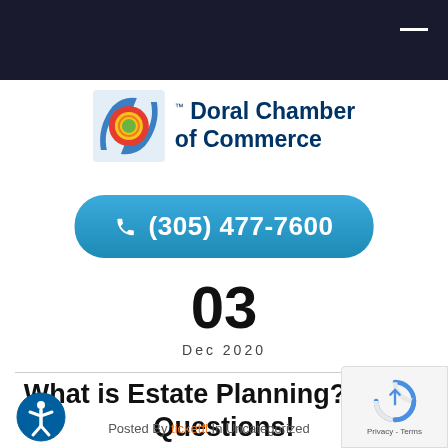[Figure (logo): Doral Chamber of Commerce logo with circular target icon in blue, red, yellow and green, with text 'Doral Chamber of Commerce']
(305) 477-7600
03
Dec  2020
What is Estate Planning? Great Questions!
Posted By ticketfl  In Uncategorized